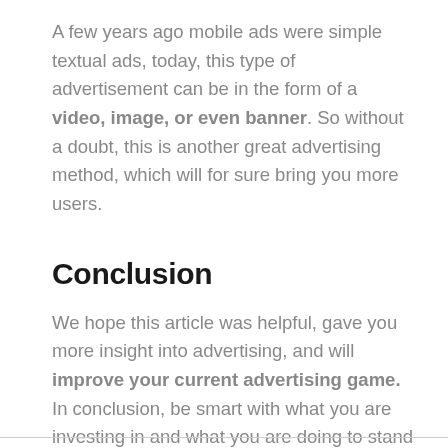A few years ago mobile ads were simple textual ads, today, this type of advertisement can be in the form of a video, image, or even banner. So without a doubt, this is another great advertising method, which will for sure bring you more users.
Conclusion
We hope this article was helpful, gave you more insight into advertising, and will improve your current advertising game. In conclusion, be smart with what you are investing in and what you are doing to stand out from the rest of the competition.